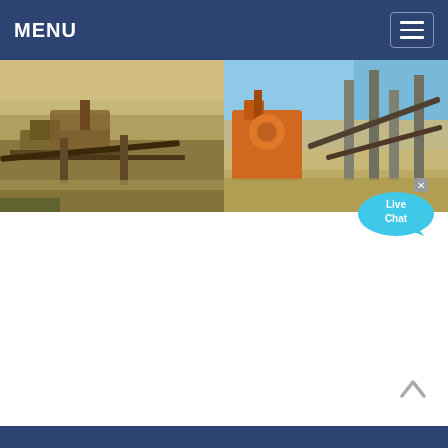MENU
[Figure (photo): Two side-by-side industrial mining/quarry machinery photos. Left: old rusty conveyor belt and mining equipment in a quarry. Right: orange and grey modern crushing/sorting machinery at a quarry site.]
[Figure (other): Live Chat speech bubble icon in cyan/blue color with 'Live Chat' text and a close X button]
Rachel Elizabeth Stone | Work
Rachel Elizabeth Stone Home About Work Contact Home About Work Contact Home About Work Contact Rachel Elizabeth Stone ...
[Figure (other): Back to top chevron/caret up arrow button]